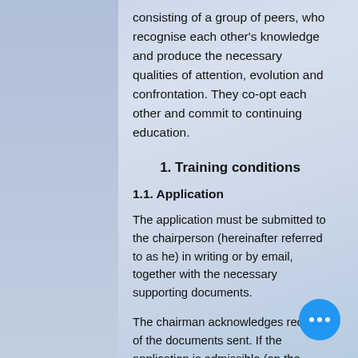consisting of a group of peers, who recognise each other's knowledge and produce the necessary qualities of attention, evolution and confrontation. They co-opt each other and commit to continuing education.
1. Training conditions
1.1. Application
The application must be submitted to the chairperson (hereinafter referred to as he) in writing or by email, together with the necessary supporting documents.
The chairman acknowledges receipt of the documents sent. If the application is admissible (on the basis of the formal conditions described below), he will all necessary information to the members